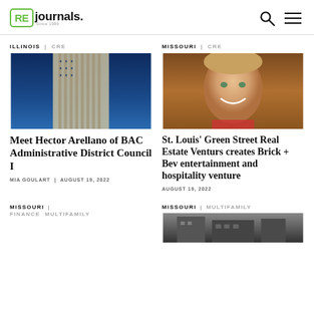RE journals
ILLINOIS | CRE
[Figure (photo): Upward view of a tall skyscraper building with blue sky background]
Meet Hector Arellano of BAC Administrative District Council I
MIA GOULART | AUGUST 19, 2022
MISSOURI | CRE
[Figure (photo): Headshot of a smiling middle-aged man]
St. Louis' Green Street Real Estate Venturs creates Brick + Bev entertainment and hospitality venture
AUGUST 19, 2022
MISSOURI | FINANCE MULTIFAMILY
MISSOURI | MULTIFAMILY
[Figure (photo): Partial view of a building or property]